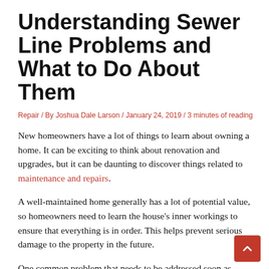Understanding Sewer Line Problems and What to Do About Them
Repair / By Joshua Dale Larson / January 24, 2019 / 3 minutes of reading
New homeowners have a lot of things to learn about owning a home. It can be exciting to think about renovation and upgrades, but it can be daunting to discover things related to maintenance and repairs.
A well-maintained home generally has a lot of potential value, so homeowners need to learn the house's inner workings to ensure that everything is in order. This helps prevent serious damage to the property in the future.
One common problem that needs to be addressed soon as warning signs appear is a clogged or blocked drain. In St. George and nearby cities in Utah, sewer line cleaning companies do regular maintenance work for homes and commercial establishments.